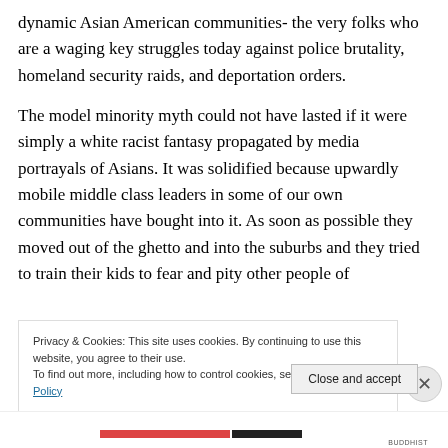dynamic Asian American communities- the very folks who are a waging key struggles today against police brutality, homeland security raids, and deportation orders.
The model minority myth could not have lasted if it were simply a white racist fantasy propagated by media portrayals of Asians. It was solidified because upwardly mobile middle class leaders in some of our own communities have bought into it. As soon as possible they moved out of the ghetto and into the suburbs and they tried to train their kids to fear and pity other people of
Privacy & Cookies: This site uses cookies. By continuing to use this website, you agree to their use.
To find out more, including how to control cookies, see here: Cookie Policy